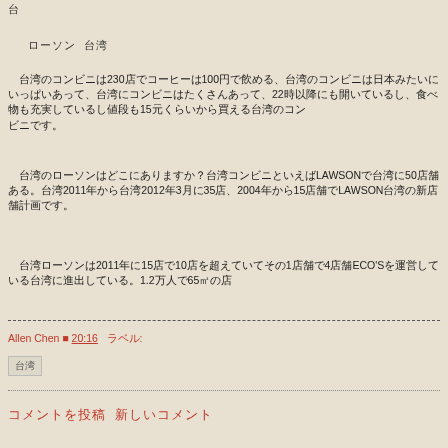台
ローソン 台湾
台湾のコンビニは230店でコーヒーは100円で飲める、台湾のコンビニは日本みたいにいっぱいあって、22時以降にも開いているし、食べ物も充実しているし値段も15元くらいから買える
台湾のローソンはどこにありますか？台湾コンビニといえばLAWSONで台湾に50店舗ある。台湾2011年から台湾2012年3月に35店、2004年から15店舗でLAWSON台湾の新店舗計画
台湾ローソンは2011年に15店で10店を超えていてその1店舗で4店舗ECO'Sを運営している台湾に進出している。1.2万人で65㎡の店
Allen Chen ■ 20:16　　　ラベル:
台湾
コメントを投稿 新しいコメント